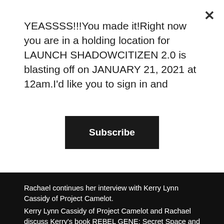YEASSSS!!!You made it!Right now you are in a holding location for LAUNCH SHADOWCITIZEN 2.0 is blasting off on JANUARY 21, 2021 at 12am.I'd like you to sign in and
Subscribe
Rachael continues her interview with Kerry Lynn Cassidy of Project Camelot.
Kerry Lynn Cassidy of Project Camelot and Rachael discuss Kerry's book REBEL GENE: Secret Space and the Future of Humanity.  The conversation centers around Kerry's own life experiences, how she started researching UFO's and became CEO of one of the largest online niche networks on the topic. Kerry shares not only the names and her opinions of famous people she has interviewed over her 17-year career with Project